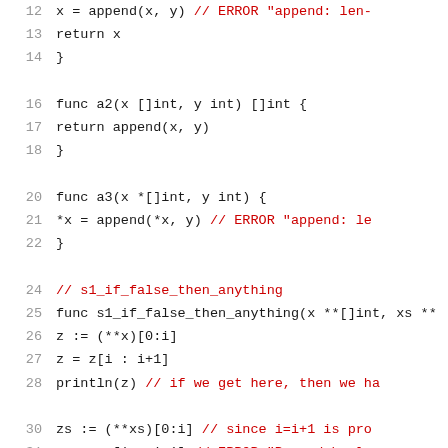Source code listing showing Go functions a2, a3, and s1_if_false_then_anything with line numbers 12-32, including error comments in red.